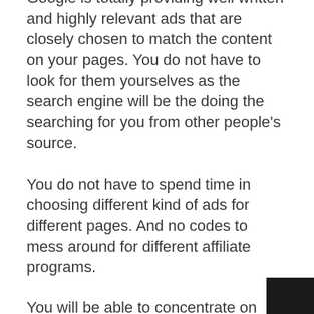Google is totally providing well written and highly relevant ads that are closely chosen to match the content on your pages. You do not have to look for them yourselves as the search engine will be the doing the searching for you from other people's source.
You do not have to spend time in choosing different kind of ads for different pages. And no codes to mess around for different affiliate programs.
You will be able to concentrate on providing good and quality content, as the search engines will be the ones finding the best ads in which to put your pages on.
You are still allowed to add Adsense ads even if you already have affiliate links on your site. It is